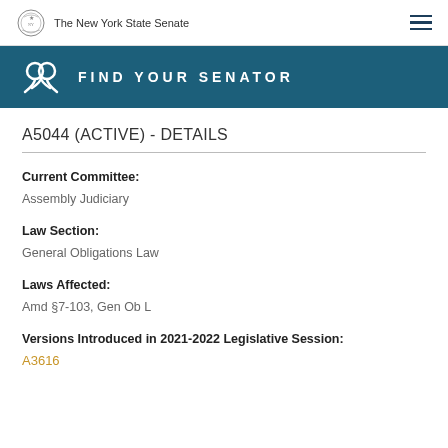The New York State Senate
FIND YOUR SENATOR
A5044 (ACTIVE) - DETAILS
Current Committee:
Assembly Judiciary
Law Section:
General Obligations Law
Laws Affected:
Amd §7-103, Gen Ob L
Versions Introduced in 2021-2022 Legislative Session:
A3616